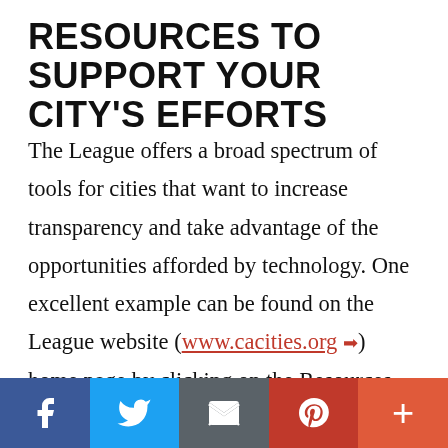RESOURCES TO SUPPORT YOUR CITY'S EFFORTS
The League offers a broad spectrum of tools for cities that want to increase transparency and take advantage of the opportunities afforded by technology. One excellent example can be found on the League website (www.cacities.org ➡) home page by clicking on the Resources tab and selecting the Open Government page. This page provides links to a comprehensive set of resources related to open meeting law, open records law, transparency law and much more. These resources encompass articles and
Facebook | Twitter | Email | Pinterest | More